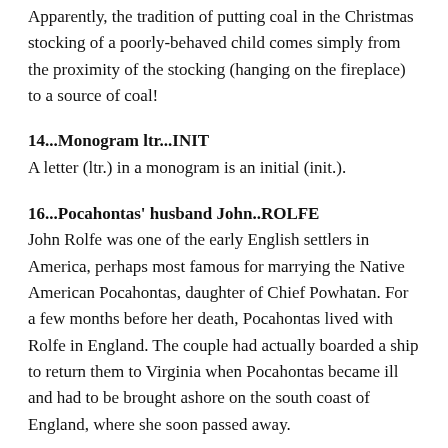Apparently, the tradition of putting coal in the Christmas stocking of a poorly-behaved child comes simply from the proximity of the stocking (hanging on the fireplace) to a source of coal!
14...Monogram ltr...INIT
A letter (ltr.) in a monogram is an initial (init.).
16...Pocahontas' husband John..ROLFE
John Rolfe was one of the early English settlers in America, perhaps most famous for marrying the Native American Pocahontas, daughter of Chief Powhatan. For a few months before her death, Pocahontas lived with Rolfe in England. The couple had actually boarded a ship to return them to Virginia when Pocahontas became ill and had to be brought ashore on the south coast of England, where she soon passed away.
17...Corp. assistant..SECY
Secretary (secy.)